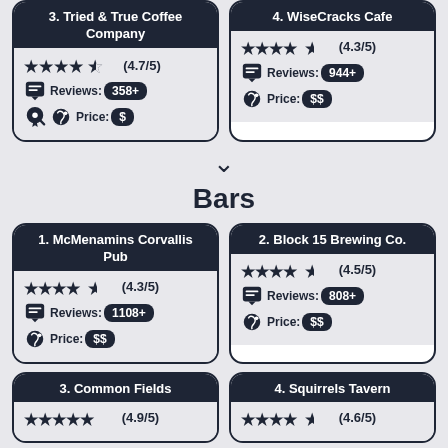3. Tried & True Coffee Company — ★★★★½ (4.7/5), Reviews: 358+, Price: $
4. WiseCracks Cafe — ★★★★½ (4.3/5), Reviews: 944+, Price: $$
▼
Bars
1. McMenamins Corvallis Pub — ★★★★½ (4.3/5), Reviews: 1108+, Price: $$
2. Block 15 Brewing Co. — ★★★★½ (4.5/5), Reviews: 808+, Price: $$
3. Common Fields — ★★★★★ (4.9/5)
4. Squirrels Tavern — ★★★★½ (4.6/5)